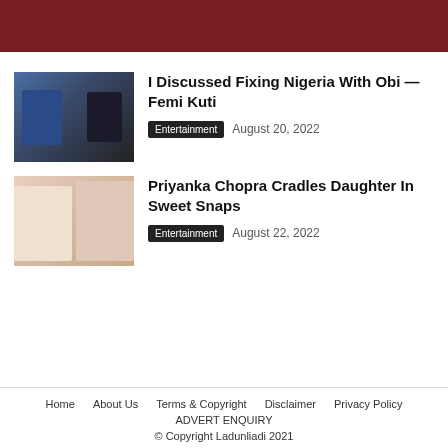I Discussed Fixing Nigeria With Obi — Femi Kuti
Entertainment   August 20, 2022
Priyanka Chopra Cradles Daughter In Sweet Snaps
Entertainment   August 22, 2022
Home   About Us   Terms & Copyright   Disclaimer   Privacy Policy   ADVERT ENQUIRY   © Copyright Ladunliadi 2021